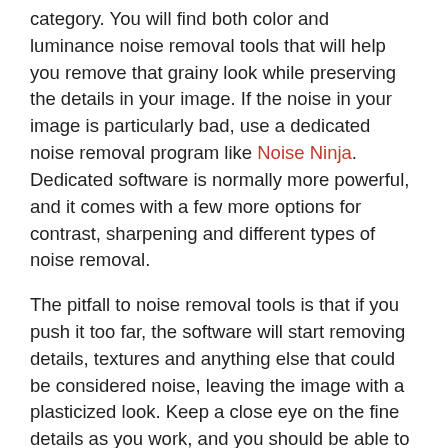category. You will find both color and luminance noise removal tools that will help you remove that grainy look while preserving the details in your image. If the noise in your image is particularly bad, use a dedicated noise removal program like Noise Ninja. Dedicated software is normally more powerful, and it comes with a few more options for contrast, sharpening and different types of noise removal.
The pitfall to noise removal tools is that if you push it too far, the software will start removing details, textures and anything else that could be considered noise, leaving the image with a plasticized look. Keep a close eye on the fine details as you work, and you should be able to remove most of the noise without creating an over-processed look.
When all else fails, do what photographers do best: get creative! One nice thing about weddings is that they invariably have all sorts of interesting light sources that you can use – candles on the tables at the reception, backlit stained glass windows, and even spotlight and...